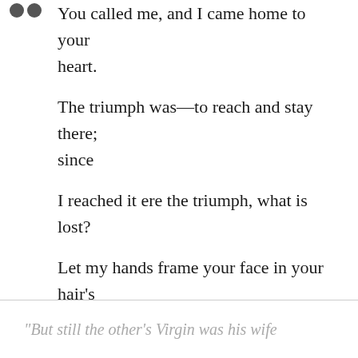You called me, and I came home to your heart.
The triumph was—to reach and stay there; since
I reached it ere the triumph, what is lost?
Let my hands frame your face in your hair's gold,
You beautiful Lucrezia that are mine!
“Rafael did this, Andrea painted that;
“The Roman’s is the better when you pray,
“But still the other’s Virgin was his wife —”